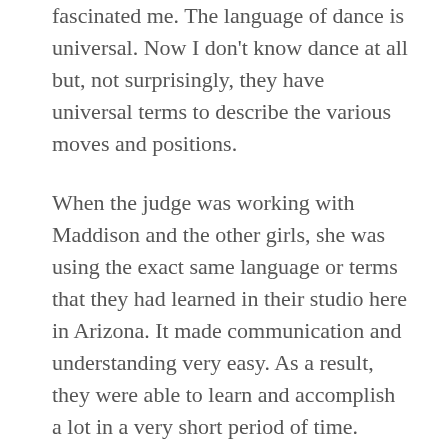fascinated me. The language of dance is universal. Now I don't know dance at all but, not surprisingly, they have universal terms to describe the various moves and positions.
When the judge was working with Maddison and the other girls, she was using the exact same language or terms that they had learned in their studio here in Arizona. It made communication and understanding very easy. As a result, they were able to learn and accomplish a lot in a very short period of time.
In order for you to be effective in your business, you need to have a common language; one that